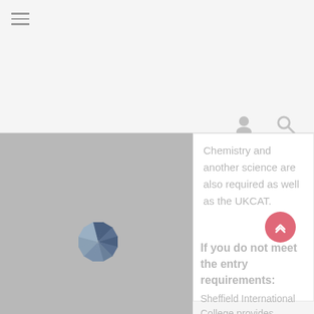[Figure (screenshot): Navigation bar with hamburger menu icon and user/search icons on a light gray background]
[Figure (photo): Gray placeholder image area with a shutter/aperture logo icon in the center]
Chemistry and another science are also required as well as the UKCAT.
[Figure (other): Pink circular scroll-to-top button with double chevron up arrow]
If you do not meet the entry requirements:
Sheffield International College provides